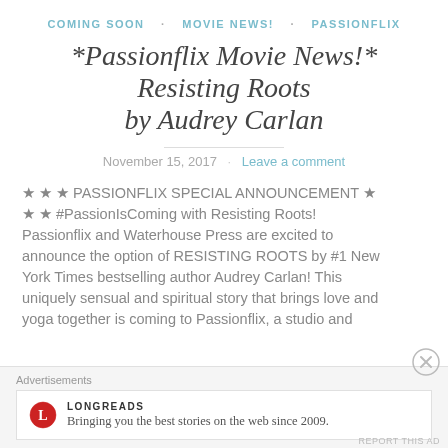COMING SOON · MOVIE NEWS! · PASSIONFLIX
*Passionflix Movie News!* Resisting Roots by Audrey Carlan
November 15, 2017 · Leave a comment
★ ★ ★ PASSIONFLIX SPECIAL ANNOUNCEMENT ★ ★ ★ #PassionIsComing with Resisting Roots! Passionflix and Waterhouse Press are excited to announce the option of RESISTING ROOTS by #1 New York Times bestselling author Audrey Carlan! This uniquely sensual and spiritual story that brings love and yoga together is coming to Passionflix, a studio and
Advertisements
[Figure (other): Longreads advertisement: logo with red circle L icon, text 'LONGREADS', tagline 'Bringing you the best stories on the web since 2009.']